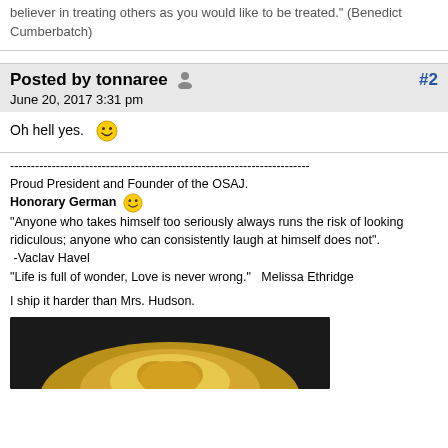believer in treating others as you would like to be treated." (Benedict Cumberbatch)
Posted by tonnaree
June 20, 2017 3:31 pm
#2
Oh hell yes. 😀
------------------------------------------------------------------------
Proud President and Founder of the OSAJ.
Honorary German 😀
"Anyone who takes himself too seriously always runs the risk of looking ridiculous; anyone who can consistently laugh at himself does not".
 -Vaclav Havel
"Life is full of wonder, Love is never wrong."   Melissa Ethridge

I ship it harder than Mrs. Hudson.
[Figure (photo): A photo of a golden/tan furry animal (likely a cat or dog) with dark background, showing the top of the animal's head with fluffy fur]